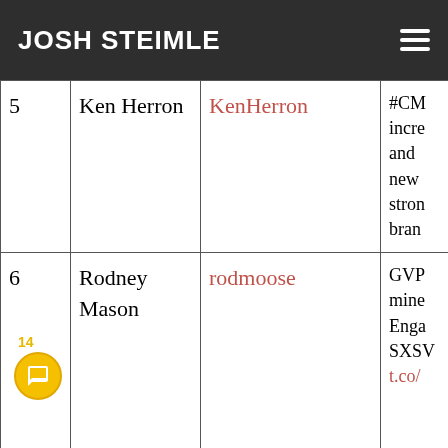JOSH STEIMLE
| # | Name | Handle | Description |
| --- | --- | --- | --- |
| 5 | Ken Herron | KenHerron | #CM... incre... and ... new ... stron... bran... |
| 6 | Rodney Mason | rodmoose | GVP... mine... Enga... SXSW... t.co/... |